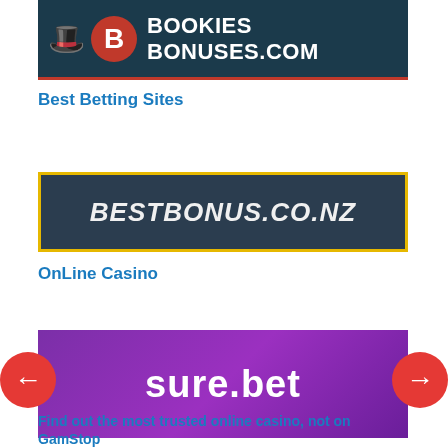[Figure (logo): BookiesBonuses.com logo — dark teal background with red B circle, white hat mascot, white bold text BOOKIES BONUSES.COM, red bottom border]
Best Betting Sites
[Figure (logo): BestBonus.co.nz logo — dark navy background with gold/yellow border, white italic bold text BESTBONUS.CO.NZ]
OnLine Casino
[Figure (logo): sure.bet logo — purple gradient background, white rounded bold text sure.bet]
Find out the most trusted online casino, not on GamStop